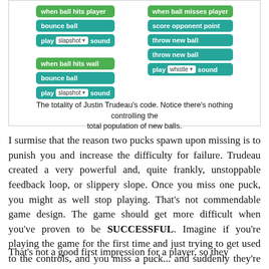[Figure (screenshot): Scratch programming code blocks showing: left column: 'when ball hits player', 'bounce ball', 'play slapshot sound'; 'when ball hits wall', 'bounce ball', 'play slapshot sound'. Right column: 'when ball misses player', 'score opponent point', 'throw new ball', 'throw new ball', 'play whistle sound'.]
The totality of Justin Trudeau's code. Notice there's nothing controlling the total population of new balls.
I surmise that the reason two pucks spawn upon missing is to punish you and increase the difficulty for failure. Trudeau created a very powerful and, quite frankly, unstoppable feedback loop, or slippery slope. Once you miss one puck, you might as well stop playing. That's not commendable game design. The game should get more difficult when you've proven to be SUCCESSFUL. Imagine if you're playing the game for the first time and just trying to get used to the controls, and you miss a puck... and suddenly they're multiplying like crazy.
That's not a good first impression for a player, so they